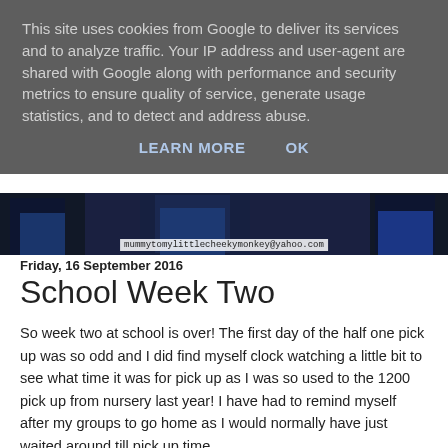This site uses cookies from Google to deliver its services and to analyze traffic. Your IP address and user-agent are shared with Google along with performance and security metrics to ensure quality of service, generate usage statistics, and to detect and address abuse.
LEARN MORE   OK
[Figure (photo): Dark image strip showing partial figures in blue clothing with email address mummytomylittlecheekymonkey@yahoo.com overlaid]
Friday, 16 September 2016
School Week Two
So week two at school is over! The first day of the half one pick up was so odd and I did find myself clock watching a little bit to see what time it was for pick up as I was so used to the 1200 pick up from nursery last year! I have had to remind myself after my groups to go home as I would normally have just waited around till pick up time.
The full class of thirty have been in this week and James has made a lot of new friends! I am not entirely sure how long ago I would say that I have...